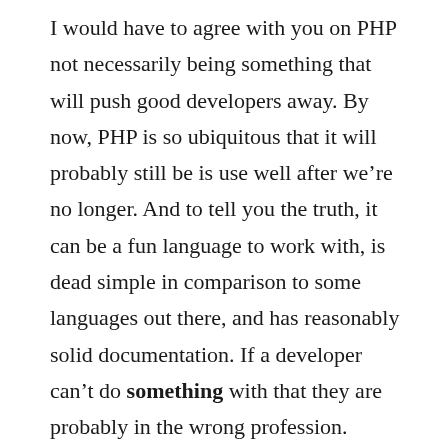I would have to agree with you on PHP not necessarily being something that will push good developers away. By now, PHP is so ubiquitous that it will probably still be is use well after we're no longer. And to tell you the truth, it can be a fun language to work with, is dead simple in comparison to some languages out there, and has reasonably solid documentation. If a developer can't do something with that they are probably in the wrong profession.
At least that's how I see it.
Reply